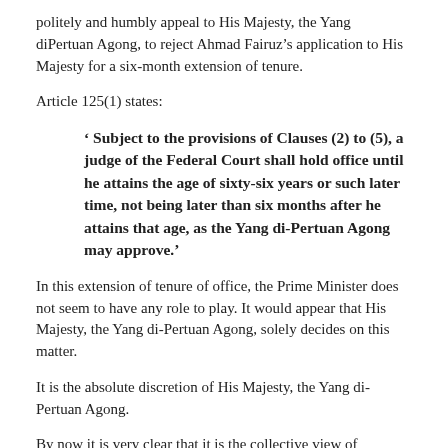politely and humbly appeal to His Majesty, the Yang diPertuan Agong, to reject Ahmad Fairuz’s application to His Majesty for a six-month extension of tenure.
Article 125(1) states:
‘ Subject to the provisions of Clauses (2) to (5), a judge of the Federal Court shall hold office until he attains the age of sixty-six years or such later time, not being later than six months after he attains that age, as the Yang di-Pertuan Agong may approve.’
In this extension of tenure of office, the Prime Minister does not seem to have any role to play. It would appear that His Majesty, the Yang di-Pertuan Agong, solely decides on this matter.
It is the absolute discretion of His Majesty, the Yang di-Pertuan Agong.
By now it is very clear that it is the collective view of